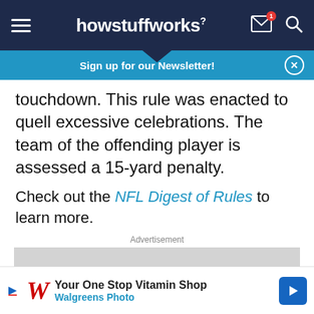howstuffworks
Sign up for our Newsletter!
touchdown. This rule was enacted to quell excessive celebrations. The team of the offending player is assessed a 15-yard penalty.
Check out the NFL Digest of Rules to learn more.
Advertisement
[Figure (other): Gray advertisement placeholder rectangle]
[Figure (other): Walgreens Photo bottom banner ad: Your One Stop Vitamin Shop - Walgreens Photo]